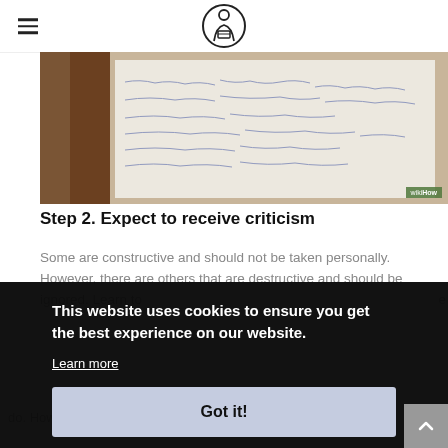wikiHow logo header with hamburger menu
[Figure (photo): Close-up photo of handwritten notes on paper with a wooden frame, with wikiHow watermark in bottom right corner]
Step 2. Expect to receive criticism
Some are constructive and should not be taken personally. However, there are others that are destructive and should be ignored. Learn to
This website uses cookies to ensure you get the best experience on our website.
Learn more
Got it!
do. However, you don't have to be ashamed of